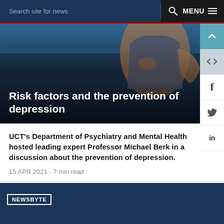Search site for news   MENU
[Figure (photo): Person in a tank top holding their chest/shoulder area outdoors near water, used as hero image for article about depression prevention]
Risk factors and the prevention of depression
UCT's Department of Psychiatry and Mental Health hosted leading expert Professor Michael Berk in a discussion about the prevention of depression.
15 APR 2021 - 7 min read
NEWSBYTE